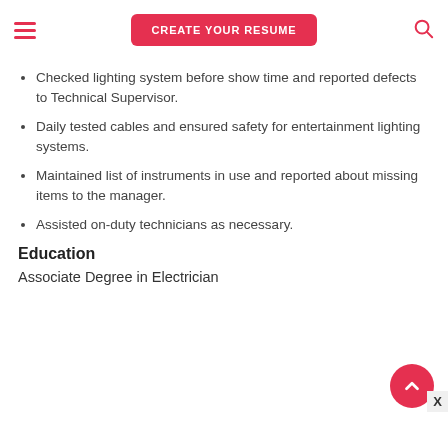CREATE YOUR RESUME
Checked lighting system before show time and reported defects to Technical Supervisor.
Daily tested cables and ensured safety for entertainment lighting systems.
Maintained list of instruments in use and reported about missing items to the manager.
Assisted on-duty technicians as necessary.
Education
Associate Degree in Electrician